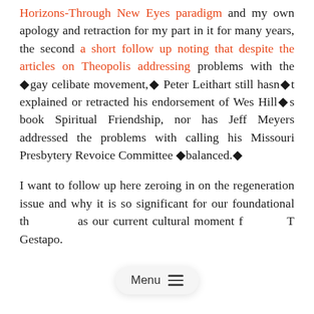Horizons-Through New Eyes paradigm and my own apology and retraction for my part in it for many years, the second a short follow up noting that despite the articles on Theopolis addressing problems with the �gay celibate movement,� Peter Leithart still hasn�t explained or retracted his endorsement of Wes Hill�s book Spiritual Friendship, nor has Jeff Meyers addressed the problems with calling his Missouri Presbytery Revoice Committee �balanced.�
I want to follow up here zeroing in on the regeneration issue and why it is so significant for our foundational th[eology] as our current cultural moment f[aces the LGB]T Gestapo.